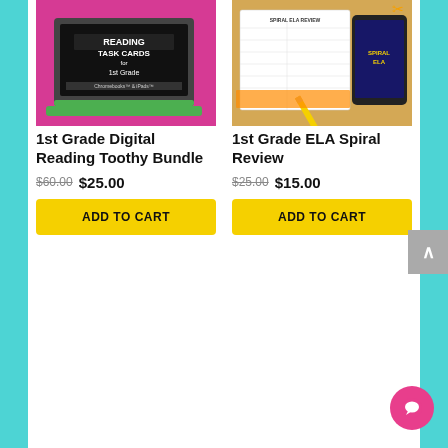[Figure (photo): Product image for 1st Grade Digital Reading Toothy Bundle — laptop with 'Reading Task Cards for 1st Grade, Chromebooks & iPads' on screen, colorful background]
1st Grade Digital Reading Toothy Bundle
$60.00 $25.00
ADD TO CART
[Figure (photo): Product image for 1st Grade ELA Spiral Review — worksheets with spiral ELA review, pencil, phone showing Spiral ELA app, scissors]
1st Grade ELA Spiral Review
$25.00 $15.00
ADD TO CART